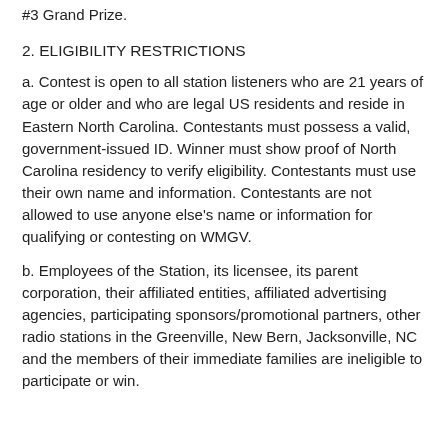#3 Grand Prize.
2. ELIGIBILITY RESTRICTIONS
a. Contest is open to all station listeners who are 21 years of age or older and who are legal US residents and reside in Eastern North Carolina. Contestants must possess a valid, government-issued ID. Winner must show proof of North Carolina residency to verify eligibility. Contestants must use their own name and information. Contestants are not allowed to use anyone else's name or information for qualifying or contesting on WMGV.
b. Employees of the Station, its licensee, its parent corporation, their affiliated entities, affiliated advertising agencies, participating sponsors/promotional partners, other radio stations in the Greenville, New Bern, Jacksonville, NC and the members of their immediate families are ineligible to participate or win.